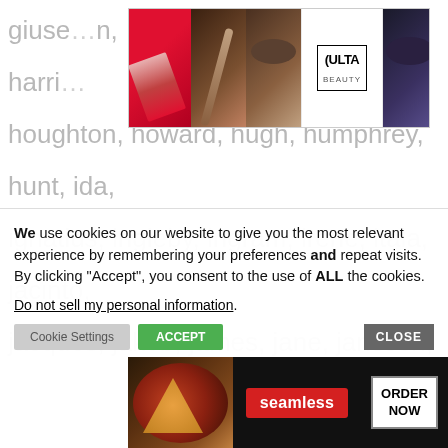[Figure (advertisement): Ulta Beauty makeup advertisement banner with cosmetic images and SHOP NOW button]
giuse... n, harri... houghton, howard, hugh, humphrey, hunt, ida, ignatius, ingleby, ingram, irene, itala, jacinto, jacques, jakob, james, jane, janssen, jean, jeanne, john, joseph, julien, junipero, katharine, kemble, kern, ... ri, larke... lloyd, lockwood, louis, lucas, luigi, luke, mackillop, madeleine, maiali, majella, manna, manuel,
[Figure (advertisement): Bloomingdales advertisement: View Today's Top Deals! SHOP NOW > with fashion model]
We use cookies on our website to give you the most relevant experience by remembering your preferences and repeat visits. By clicking “Accept”, you consent to the use of ALL the cookies.
Do not sell my personal information.
[Figure (advertisement): Seamless food delivery advertisement with pizza image, Seamless logo, and ORDER NOW button]